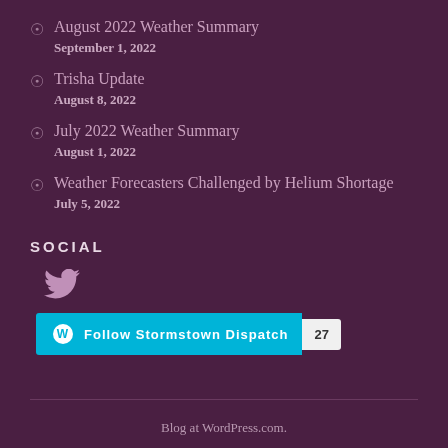August 2022 Weather Summary
September 1, 2022
Trisha Update
August 8, 2022
July 2022 Weather Summary
August 1, 2022
Weather Forecasters Challenged by Helium Shortage
July 5, 2022
SOCIAL
[Figure (logo): Twitter bird icon]
[Figure (infographic): Follow Stormstown Dispatch button with WordPress logo and follower count of 27]
Blog at WordPress.com.